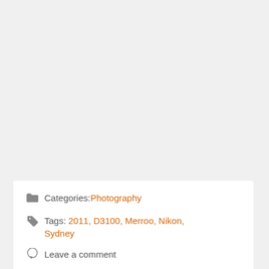Categories: Photography
Tags: 2011, D3100, Merroo, Nikon, Sydney
Leave a comment